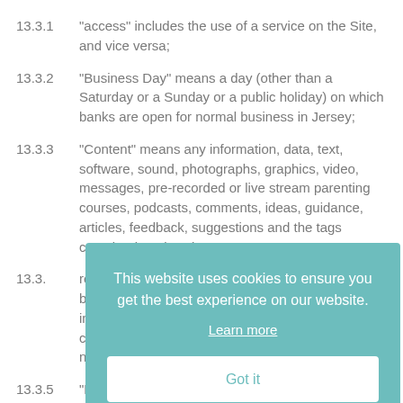13.3.1 “access” includes the use of a service on the Site, and vice versa;
13.3.2 “Business Day” means a day (other than a Saturday or a Sunday or a public holiday) on which banks are open for normal business in Jersey;
13.3.3 “Content” means any information, data, text, software, sound, photographs, graphics, video, messages, pre-recorded or live stream parenting courses, podcasts, comments, ideas, guidance, articles, feedback, suggestions and the tags contained on the Site;
13.3.4 [partially obscured] rever... busin... indire... contr... negli...
13.3.5 “Member” means any registered User of our
[Figure (other): Cookie consent overlay popup with teal background. Text reads: 'This website uses cookies to ensure you get the best experience on our website.' with a 'Learn more' underlined link and a white 'Got it' button.]